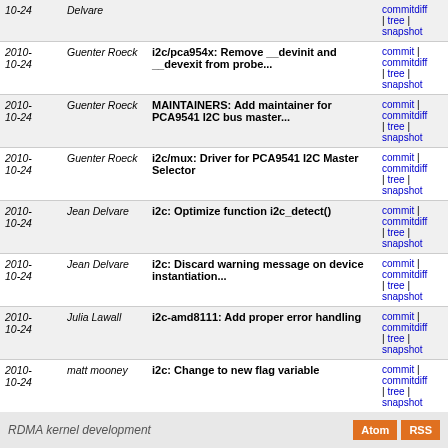| Date | Author | Commit | Links |
| --- | --- | --- | --- |
| 2010-10-24 | Delvare | (partial top row) | commit | commitdiff | tree | snapshot |
| 2010-10-24 | Guenter Roeck | i2c/pca954x: Remove __devinit and __devexit from probe... | commit | commitdiff | tree | snapshot |
| 2010-10-24 | Guenter Roeck | MAINTAINERS: Add maintainer for PCA9541 I2C bus master... | commit | commitdiff | tree | snapshot |
| 2010-10-24 | Guenter Roeck | i2c/mux: Driver for PCA9541 I2C Master Selector | commit | commitdiff | tree | snapshot |
| 2010-10-24 | Jean Delvare | i2c: Optimize function i2c_detect() | commit | commitdiff | tree | snapshot |
| 2010-10-24 | Jean Delvare | i2c: Discard warning message on device instantiation... | commit | commitdiff | tree | snapshot |
| 2010-10-24 | Julia Lawall | i2c-amd8111: Add proper error handling | commit | commitdiff | tree | snapshot |
| 2010-10-24 | matt mooney | i2c: Change to new flag variable | commit | commitdiff | tree | snapshot |
| 2010-10-24 | Jean Delvare | i2c: Remove unneeded inclusions of <linux/i2c-id.h> | commit | commitdiff | tree | snapshot |
next
RDMA kernel development